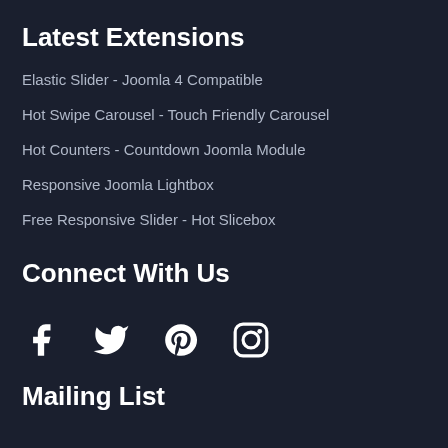Latest Extensions
Elastic Slider - Joomla 4 Compatible
Hot Swipe Carousel - Touch Friendly Carousel
Hot Counters - Countdown Joomla Module
Responsive Joomla Lightbox
Free Responsive Slider - Hot Slicebox
Connect With Us
[Figure (infographic): Social media icons: Facebook, Twitter, Pinterest, Instagram]
Mailing List